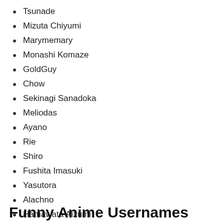Tsunade
Mizuta Chiyumi
Marymemary
Monashi Komaze
GoldGuy
Chow
Sekinagi Sanadoka
Meliodas
Ayano
Rie
Shiro
Fushita Imasuki
Yasutora
Alachno
Hamawata Aizumi
Otsutsuki Kanaga
Funny Anime Usernames